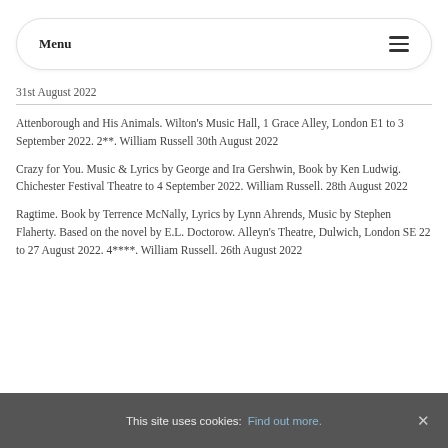Menu
31st August 2022
Attenborough and His Animals. Wilton's Music Hall, 1 Grace Alley, London E1 to 3 September 2022. 2**. William Russell 30th August 2022
Crazy for You. Music & Lyrics by George and Ira Gershwin, Book by Ken Ludwig. Chichester Festival Theatre to 4 September 2022. William Russell. 28th August 2022
Ragtime. Book by Terrence McNally, Lyrics by Lynn Ahrends, Music by Stephen Flaherty. Based on the novel by E.L. Doctorow. Alleyn's Theatre, Dulwich, London SE 22 to 27 August 2022. 4****. William Russell. 26th August 2022
This site uses cookies: Find out more.